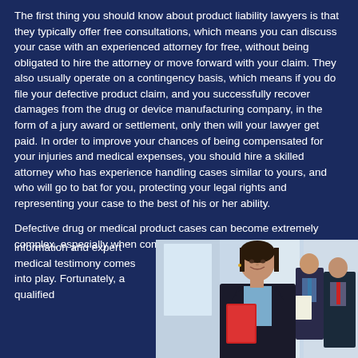The first thing you should know about product liability lawyers is that they typically offer free consultations, which means you can discuss your case with an experienced attorney for free, without being obligated to hire the attorney or move forward with your claim. They also usually operate on a contingency basis, which means if you do file your defective product claim, and you successfully recover damages from the drug or device manufacturing company, in the form of a jury award or settlement, only then will your lawyer get paid. In order to improve your chances of being compensated for your injuries and medical expenses, you should hire a skilled attorney who has experience handling cases similar to yours, and who will go to bat for you, protecting your legal rights and representing your case to the best of his or her ability.
Defective drug or medical product cases can become extremely complex, especially when complicated legal jargon, recall information and expert medical testimony comes into play. Fortunately, a qualified...
[Figure (photo): Professional businesswoman in a suit holding red folders, smiling at camera; two businessmen in the background reviewing documents in an office setting.]